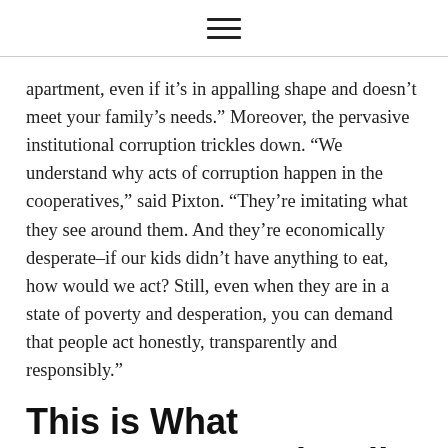[hamburger menu icon]
apartment, even if it’s in appalling shape and doesn’t meet your family’s needs.” Moreover, the pervasive institutional corruption trickles down. “We understand why acts of corruption happen in the cooperatives,” said Pixton. “They’re imitating what they see around them. And they’re economically desperate–if our kids didn’t have anything to eat, how would we act? Still, even when they are in a state of poverty and desperation, you can demand that people act honestly, transparently and responsibly.”
This is What Democracy Looks Like
Pixton lit up the most when describing how